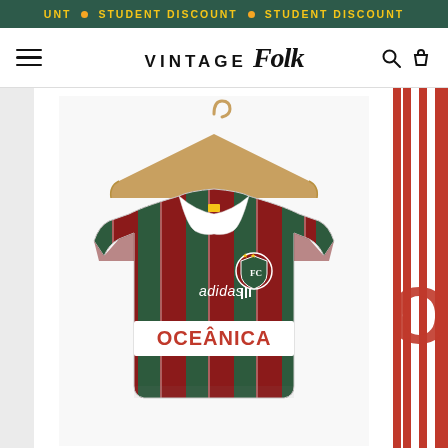STUDENT DISCOUNT • STUDENT DISCOUNT
VINTAGE Folk
[Figure (photo): Vintage Fluminense FC Adidas home jersey with red and dark green vertical stripes, white collar, Oceanica sponsor, Fluminense badge, hung on a wooden hanger against white background]
[Figure (photo): Partial view of a second jersey with red and white vertical stripes on right side of frame]